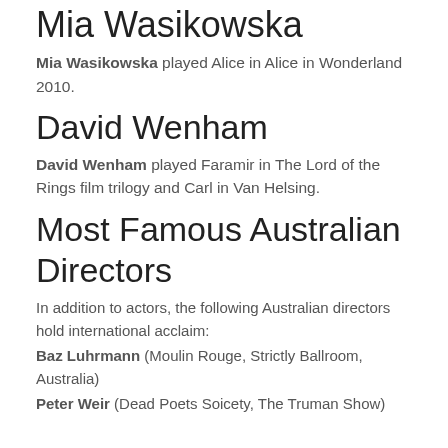Mia Wasikowska
Mia Wasikowska played Alice in Alice in Wonderland 2010.
David Wenham
David Wenham played Faramir in The Lord of the Rings film trilogy and Carl in Van Helsing.
Most Famous Australian Directors
In addition to actors, the following Australian directors hold international acclaim:
Baz Luhrmann (Moulin Rouge, Strictly Ballroom, Australia)
Peter Weir (Dead Poets Soicety, The Truman Show)